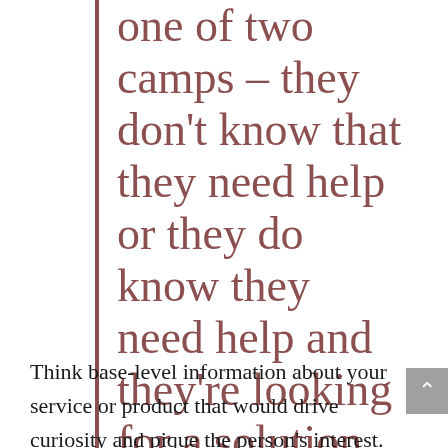one of two camps – they don't know that they need help or they do know they need help and they're looking for a solution.
Think base-level information about your service or product that would drive curiosity and pique the person's interest. The content should drive back to the main brand message but be at a level